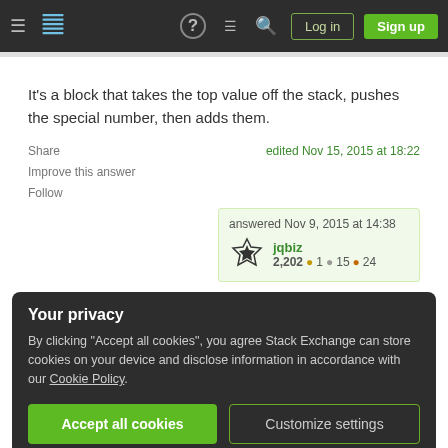Stack Exchange navigation bar with hamburger menu, logo, help, chat, search icons, Log in and Sign up buttons
It's a block that takes the top value off the stack, pushes the special number, then adds them.
Share
Improve this answer
Follow
edited Nov 15, 2015 at 18:22
answered Nov 9, 2015 at 14:38
jqbiz
2,202 ● 1 ● 15 ● 24
Your privacy
By clicking "Accept all cookies", you agree Stack Exchange can store cookies on your device and disclose information in accordance with our Cookie Policy.
Accept all cookies   Customize settings